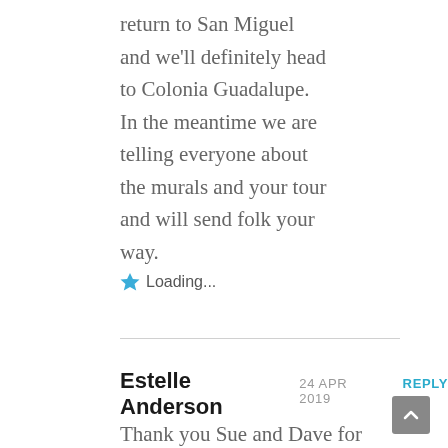return to San Miguel and we'll definitely head to Colonia Guadalupe. In the meantime we are telling everyone about the murals and your tour and will send folk your way.
Loading...
Estelle Anderson 24 APR 2019 REPLY
Thank you Sue and Dave for sharing this wonderful post. The street art in the Colonia Gaudelupe neighbourhood looks stunning. And obviously there is heaps of it. I love how the locals invited you to the cafe and walking tour… and the fact that you took up both opportunities! It certainly paid off. I'd love to go on the walking